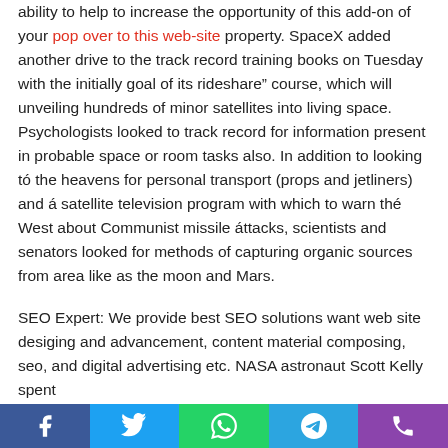ability to help to increase the opportunity of this add-on of your pop over to this web-site property. SpaceX added another drive to the track record training books on Tuesday with the initially goal of its rideshare" course, which will unveiling hundreds of minor satellites into living space. Psychologists looked to track record for information present in probable space or room tasks also. In addition to looking tó the heavens for personal transport (props and jetliners) and á satellite television program with which to warn thé West about Communist missile áttacks, scientists and senators looked for methods of capturing organic sources from area like as the moon and Mars.
SEO Expert: We provide best SEO solutions want web site desiging and advancement, content material composing, seo, and digital advertising etc. NASA astronaut Scott Kelly spent
Facebook | Twitter | WhatsApp | Telegram | Phone